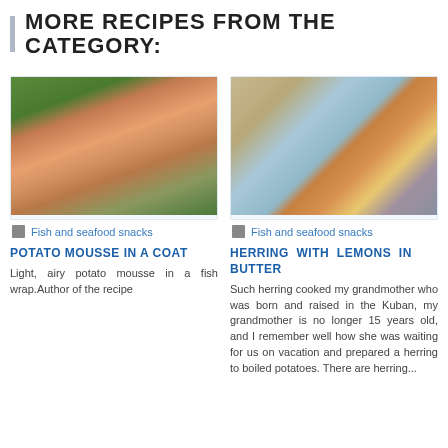MORE RECIPES FROM THE CATEGORY:
[Figure (photo): Close-up photo of potato mousse in a fish wrap on green leaves]
Fish and seafood snacks
POTATO MOUSSE IN A COAT
Light, airy potato mousse in a fish wrap.Author of the recipe
[Figure (photo): Photo of herring with lemons in a glass jar, with a fork and pink flowers visible]
Fish and seafood snacks
HERRING WITH LEMONS IN BUTTER
Such herring cooked my grandmother who was born and raised in the Kuban, my grandmother is no longer 15 years old, and I remember well how she was waiting for us on vacation and prepared a herring to boiled potatoes. There are herring...